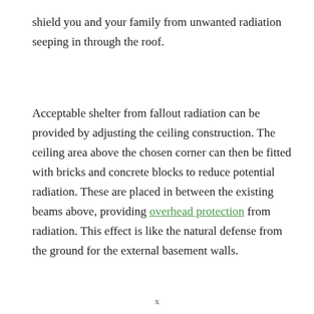shield you and your family from unwanted radiation seeping in through the roof.
Acceptable shelter from fallout radiation can be provided by adjusting the ceiling construction. The ceiling area above the chosen corner can then be fitted with bricks and concrete blocks to reduce potential radiation. These are placed in between the existing beams above, providing overhead protection from radiation. This effect is like the natural defense from the ground for the external basement walls.